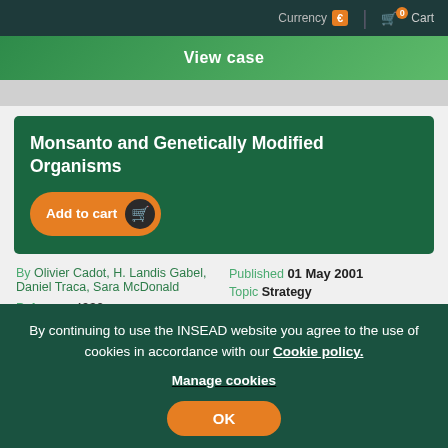Currency € | 0 Cart
View case
Monsanto and Genetically Modified Organisms
Add to cart
By Olivier Cadot, H. Landis Gabel, Daniel Traca, Sara McDonald
Reference 4932
Published 01 May 2001
Topic Strategy
Region Europe
Industry Food and Beverages Production
The case analyses the failed introduction of genetically
By continuing to use the INSEAD website you agree to the use of cookies in accordance with our Cookie policy.
Manage cookies
OK